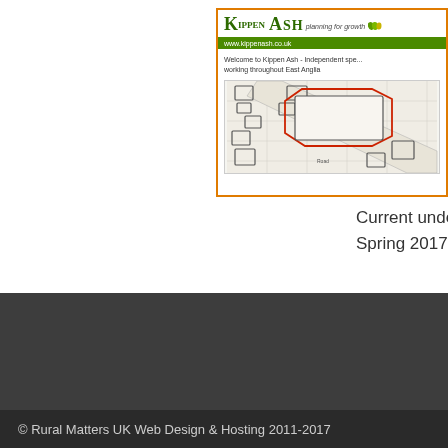[Figure (screenshot): Screenshot of Kippen Ash website showing logo, green navigation bar with URL, introductory text about being independent specialists working throughout East Anglia, and a site map/plan diagram with building outlines and a red highlighted plot boundary.]
Current under de... Spring 2017.
© Rural Matters UK Web Design & Hosting 2011-2017